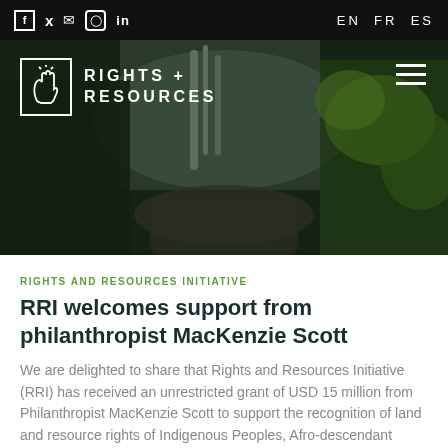f  twitter  mail  instagram  in    EN  FR  ES
[Figure (photo): Hero image of a tropical waterfall and lush green forest with Rights + Resources Initiative logo and hamburger menu overlay]
RIGHTS AND RESOURCES INITIATIVE
RRI welcomes support from philanthropist MacKenzie Scott
We are delighted to share that Rights and Resources Initiative (RRI) has received an unrestricted grant of USD 15 million from Philanthropist MacKenzie Scott to support the recognition of land and resource rights of Indigenous Peoples, Afro-descendant Peoples and local communities across the world –